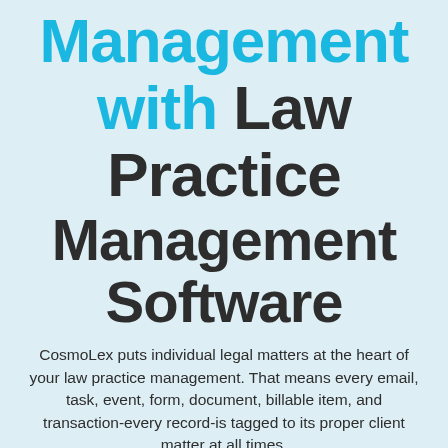Management with Law Practice Management Software
CosmoLex puts individual legal matters at the heart of your law practice management. That means every email, task, event, form, document, billable item, and transaction-every record-is tagged to its proper client matter at all times.